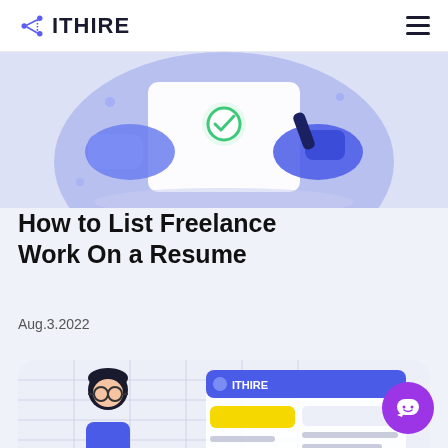ITHIRE
[Figure (illustration): Hero illustration showing hands holding a document/envelope with a purple circular background, depicting freelance/job application theme]
How to List Freelance Work On a Resume
Aug.3.2022
[Figure (illustration): Lower illustration showing a cartoon person with glasses next to an ITHIRE platform UI screenshot with resume/profile interface]